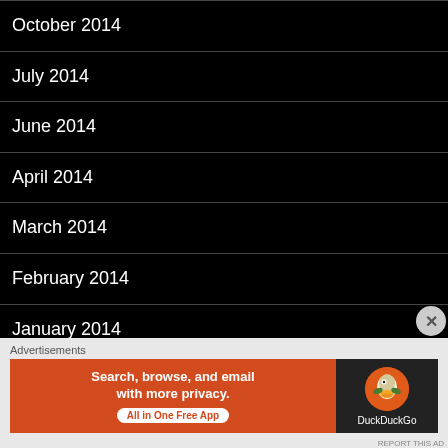October 2014
July 2014
June 2014
April 2014
March 2014
February 2014
January 2014
December 2013
November 2013
October 2013
Advertisements
[Figure (screenshot): DuckDuckGo advertisement banner: orange background with text 'Search, browse, and email with more privacy. All in One Free App' and DuckDuckGo logo on dark background]